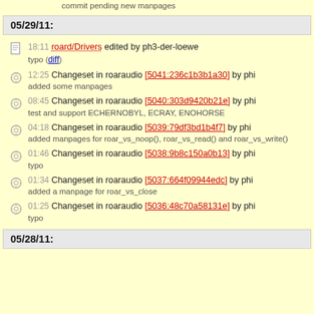commit pending new manpages
05/29/11:
18:11 roard/Drivers edited by ph3-der-loewe
typo (diff)
12:25 Changeset in roaraudio [5041:236c1b3b1a30] by phi
added some manpages
08:45 Changeset in roaraudio [5040:303d9420b21e] by phi
test and support ECHERNOBYL, ECRAY, ENOHORSE
04:18 Changeset in roaraudio [5039:79df3bd1b4f7] by phi
added manpages for roar_vs_noop(), roar_vs_read() and roar_vs_write()
01:46 Changeset in roaraudio [5038:9b8c150a0b13] by phi
typo
01:34 Changeset in roaraudio [5037:664f09944edc] by phi
added a manpage for roar_vs_close
01:25 Changeset in roaraudio [5036:48c70a58131e] by phi
typo
05/28/11: